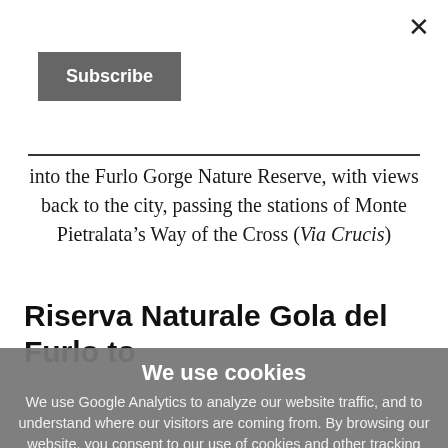Subscribe
into the Furlo Gorge Nature Reserve, with views back to the city, passing the stations of Monte Pietralata’s Way of the Cross (Via Crucis)
Riserva Naturale Gola del Furlo to
We use cookies
We use Google Analytics to analyze our website traffic, and to understand where our visitors are coming from. By browsing our website, you consent to our use of cookies and other tracking technologies. We'll assume you're OK with this, but you can opt-out if you wish. Read More
ACCEPT